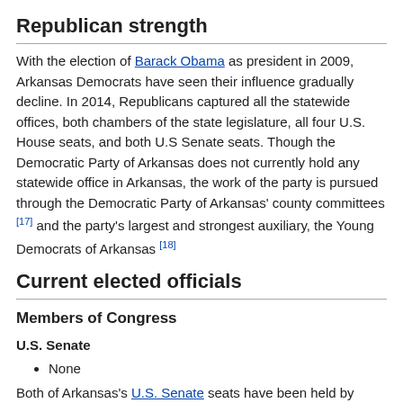Republican strength
With the election of Barack Obama as president in 2009, Arkansas Democrats have seen their influence gradually decline. In 2014, Republicans captured all the statewide offices, both chambers of the state legislature, all four U.S. House seats, and both U.S Senate seats. Though the Democratic Party of Arkansas does not currently hold any statewide office in Arkansas, the work of the party is pursued through the Democratic Party of Arkansas' county committees [17] and the party's largest and strongest auxiliary, the Young Democrats of Arkansas [18]
Current elected officials
Members of Congress
U.S. Senate
None
Both of Arkansas's U.S. Senate seats have been held by Republicans since 2014. Mark Pryor was the last Democrat to